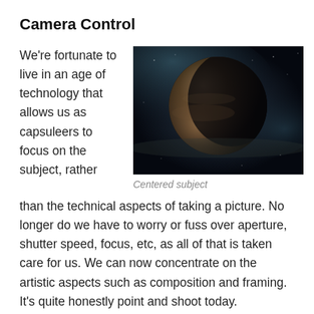Camera Control
We're fortunate to live in an age of technology that allows us as capsuleers to focus on the subject, rather than the technical aspects of taking a picture. No longer do we have to worry or fuss over aperture, shutter speed, focus, etc, as all of that is taken care for us. We can now concentrate on the artistic aspects such as composition and framing. It's quite honestly point and shoot today.
[Figure (photo): A planet silhouetted against a dark space nebula background, centered in frame.]
Centered subject
How to work your camera controls. Here's the image